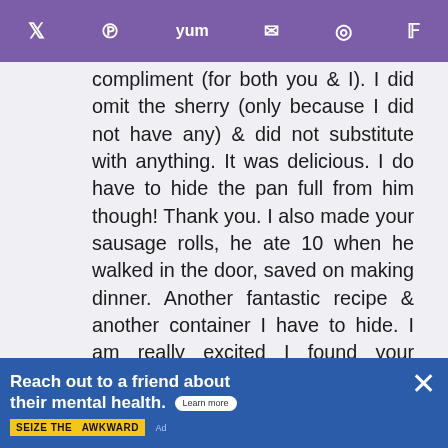Social sharing icons: Twitter, Pinterest, Yum, Email, WhatsApp, Flipboard
compliment (for both you & I). I did omit the sherry (only because I did not have any) & did not substitute with anything. It was delicious. I do have to hide the pan full from him though! Thank you. I also made your sausage rolls, he ate 10 when he walked in the door, saved on making dinner. Another fantastic recipe & another container I have to hide. I am really excited I found your website. Hiding bathroom scales too!!!
[Figure (screenshot): Heart/like button (purple circle with heart icon) and share button overlay on right side]
[Figure (photo): What's Next promo: circular food photo thumbnail next to text 'WHAT'S NEXT → Crème brûlée bread puddi...']
REPLY
[Figure (infographic): Advertisement banner: 'Reach out to a friend about their mental health. Learn more' with 'SEIZE THE AWKWARD' yellow tag on blue background. Ad Choices and close X button visible.]